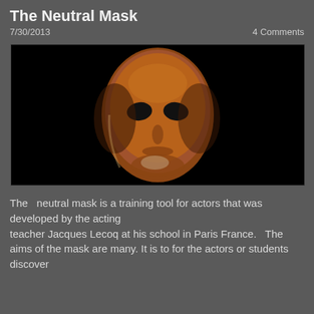The Neutral Mask
7/30/2013
4 Comments
[Figure (photo): A neutral theatre mask, reddish-brown in color with dark eye openings, centered against a black background. The mask shows a calm, expressionless face used in acting training.]
The  neutral mask is a training tool for actors that was developed by the acting
teacher Jacques Lecoq at his school in Paris France.  The
aims of the mask are many. It is to for the actors or students discover